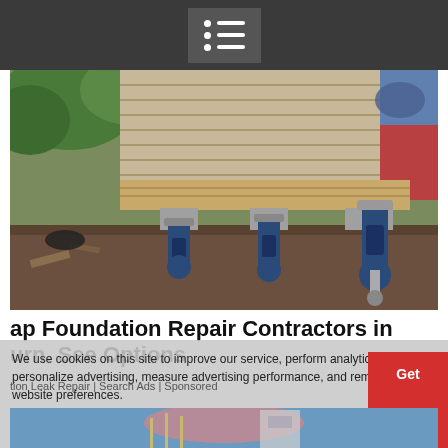Navigation menu icon
[Figure (photo): Photo of a house foundation repair in progress, showing wooden beams lifted by blue hydraulic jacks on concrete footings, with exposed dirt and construction debris visible underneath horizontal wood siding.]
ap Foundation Repair Contractors in urn. See Options
tion Leak Repair | Search Ads | Sponsored
We use cookies on this site to improve our service, perform analytics, personalize advertising, measure advertising performance, and remember website preferences.
Ok →
[Figure (photo): Bottom portion of a second photo showing a blue sky with construction equipment or tall structures visible at the bottom edge.]